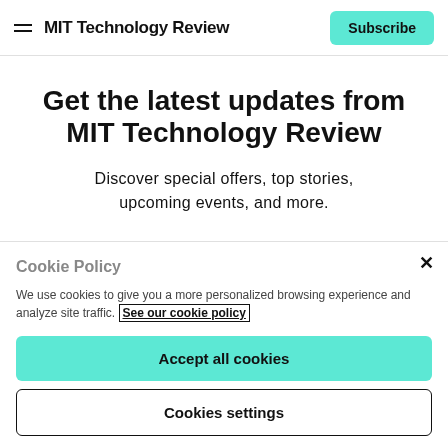MIT Technology Review | Subscribe
Get the latest updates from MIT Technology Review
Discover special offers, top stories, upcoming events, and more.
Enter your email
Cookie Policy
We use cookies to give you a more personalized browsing experience and analyze site traffic. See our cookie policy
Accept all cookies
Cookies settings